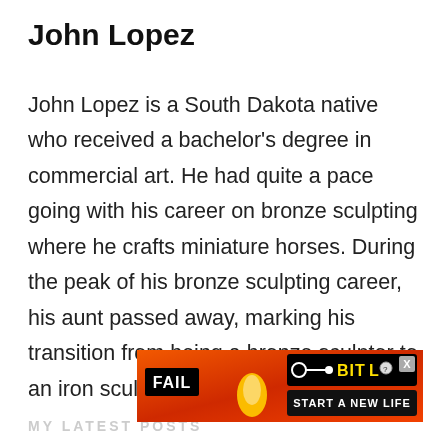John Lopez
John Lopez is a South Dakota native who received a bachelor's degree in commercial art. He had quite a pace going with his career on bronze sculpting where he crafts miniature horses. During the peak of his bronze sculpting career, his aunt passed away, marking his transition from being a bronze sculptor to an iron sculptor.
[Figure (other): BitLife advertisement banner with 'FAIL' text and 'START A NEW LIFE' call to action, cartoon character, flame graphics on red/orange background]
MY LATEST POSTS